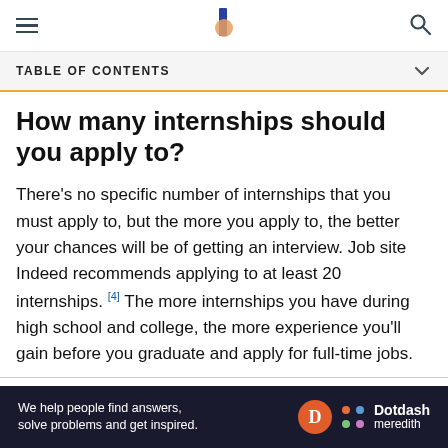Navigation bar with menu, logo, and search icon
TABLE OF CONTENTS
How many internships should you apply to?
There's no specific number of internships that you must apply to, but the more you apply to, the better your chances will be of getting an interview. Job site Indeed recommends applying to at least 20 internships.[4] The more internships you have during high school and college, the more experience you'll gain before you graduate and apply for full-time jobs.
ARTICLE SOURCES
[Figure (logo): Dotdash Meredith advertisement banner with tagline: We help people find answers, solve problems and get inspired.]